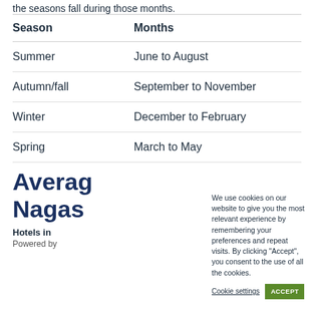the seasons fall during those months.
| Season | Months |
| --- | --- |
| Summer | June to August |
| Autumn/fall | September to November |
| Winter | December to February |
| Spring | March to May |
Average Nagas...
Hotels in
Powered by
We use cookies on our website to give you the most relevant experience by remembering your preferences and repeat visits. By clicking “Accept”, you consent to the use of all the cookies.